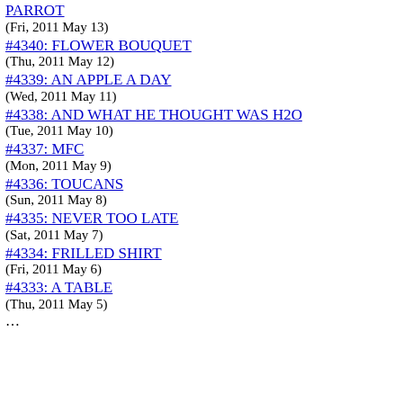PARROT
(Fri, 2011 May 13)
#4340: FLOWER BOUQUET
(Thu, 2011 May 12)
#4339: AN APPLE A DAY
(Wed, 2011 May 11)
#4338: AND WHAT HE THOUGHT WAS H2O
(Tue, 2011 May 10)
#4337: MFC
(Mon, 2011 May 9)
#4336: TOUCANS
(Sun, 2011 May 8)
#4335: NEVER TOO LATE
(Sat, 2011 May 7)
#4334: FRILLED SHIRT
(Fri, 2011 May 6)
#4333: A TABLE
(Thu, 2011 May 5)